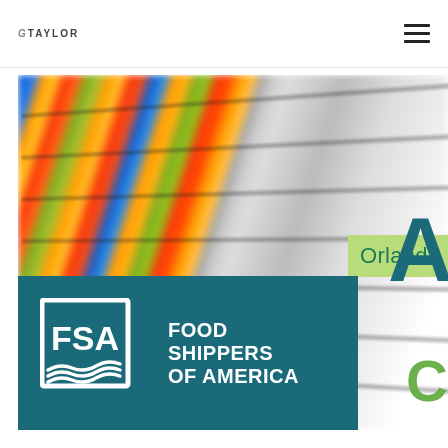GTAYLOR
[Figure (photo): Blurred grocery store aisle with colorful product shelves receding into perspective]
[Figure (logo): FSA Food Shippers of America logo on teal background with white FSA emblem and text reading FOOD SHIPPERS OF AMERICA]
Orlando
A
C